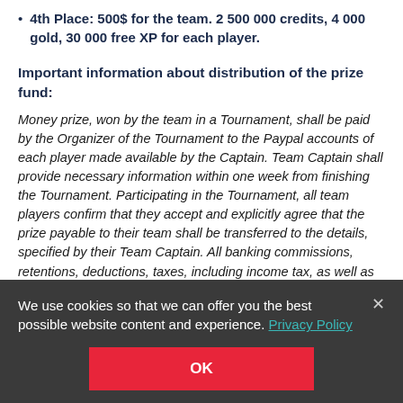4th Place: 500$ for the team. 2 500 000 credits, 4 000 gold, 30 000 free XP for each player.
Important information about distribution of the prize fund:
Money prize, won by the team in a Tournament, shall be paid by the Organizer of the Tournament to the Paypal accounts of each player made available by the Captain. Team Captain shall provide necessary information within one week from finishing the Tournament. Participating in the Tournament, all team players confirm that they accept and explicitly agree that the prize payable to their team shall be transferred to the details, specified by their Team Captain. All banking commissions, retentions, deductions, taxes, including income tax, as well as any other expenses in respect of prize repayment, shall be self-sustained by the team and each player of this team, who has
We use cookies so that we can offer you the best possible website content and experience. Privacy Policy
OK